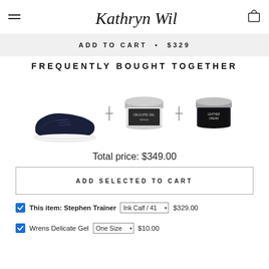Kathryn Wilson
ADD TO CART • $329
FREQUENTLY BOUGHT TOGETHER
[Figure (photo): Three product images in a row: navy leather sneaker (Stephen Trainer), a jar of Wrens Delicate Gel, and a jar of leather cream, separated by plus signs]
Total price: $349.00
ADD SELECTED TO CART
This item: Stephen Trainer  Ink Calf / 41  $329.00
Wrens Delicate Gel  One Size  $10.00